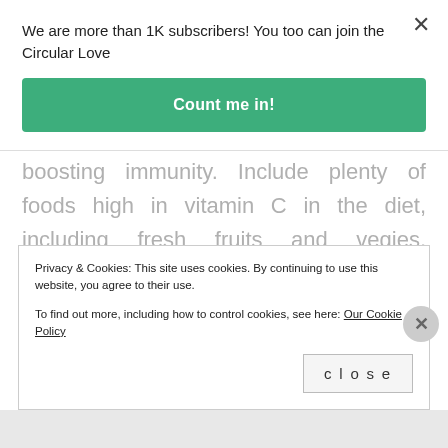We are more than 1K subscribers! You too can join the Circular Love
Count me in!
boosting immunity. Include plenty of foods high in vitamin C in the diet, including fresh fruits and vegies, especially citrus fruits, kiwi fruit, strawberries, broccoli, cabbage and parsley. A vitamin C supplement is also recommended to
Privacy & Cookies: This site uses cookies. By continuing to use this website, you agree to their use.
To find out more, including how to control cookies, see here: Our Cookie Policy
close